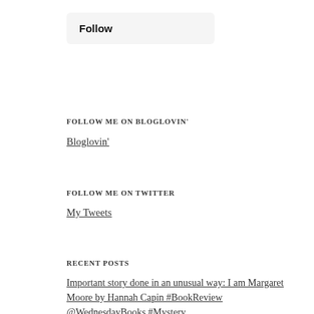Follow
FOLLOW ME ON BLOGLOVIN'
Bloglovin'
FOLLOW ME ON TWITTER
My Tweets
RECENT POSTS
Important story done in an unusual way: I am Margaret Moore by Hannah Capin #BookReview @WednesdayBooks #Mystery
Movie Monday: House of Gucci #MovieMonday